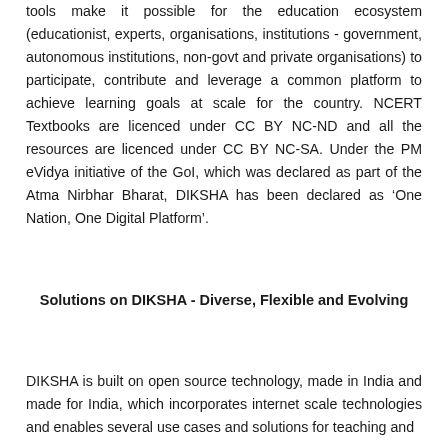tools make it possible for the education ecosystem (educationist, experts, organisations, institutions - government, autonomous institutions, non-govt and private organisations) to participate, contribute and leverage a common platform to achieve learning goals at scale for the country. NCERT Textbooks are licenced under CC BY NC-ND and all the resources are licenced under CC BY NC-SA. Under the PM eVidya initiative of the GoI, which was declared as part of the Atma Nirbhar Bharat, DIKSHA has been declared as ‘One Nation, One Digital Platform’.
Solutions on DIKSHA - Diverse, Flexible and Evolving
DIKSHA is built on open source technology, made in India and made for India, which incorporates internet scale technologies and enables several use cases and solutions for teaching and